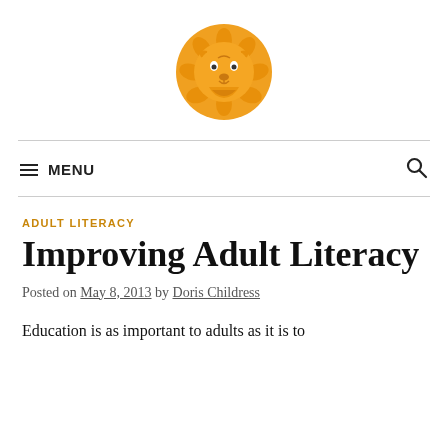[Figure (logo): Orange lion head logo inside a circular design]
≡ MENU
ADULT LITERACY
Improving Adult Literacy
Posted on May 8, 2013 by Doris Childress
Education is as important to adults as it is to children, or at least it should be.